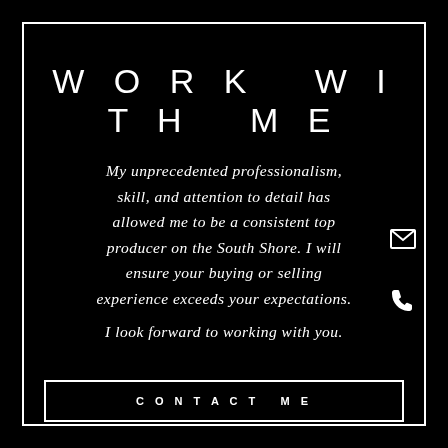WORK WITH ME
My unprecedented professionalism, skill, and attention to detail has allowed me to be a consistent top producer on the South Shore. I will ensure your buying or selling experience exceeds your expectations.
I look forward to working with you.
CONTACT ME